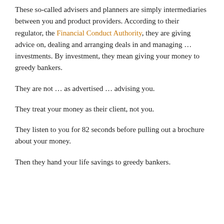These so-called advisers and planners are simply intermediaries between you and product providers. According to their regulator, the Financial Conduct Authority, they are giving advice on, dealing and arranging deals in and managing … investments. By investment, they mean giving your money to greedy bankers.
They are not … as advertised … advising you.
They treat your money as their client, not you.
They listen to you for 82 seconds before pulling out a brochure about your money.
Then they hand your life savings to greedy bankers.